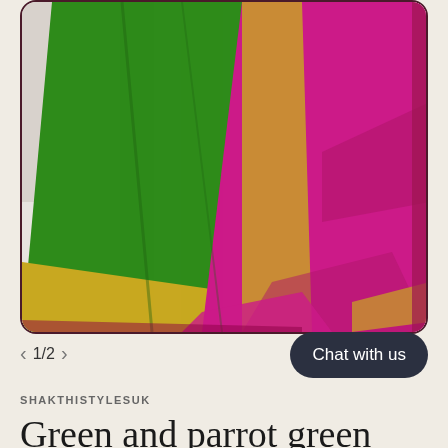[Figure (photo): Product photo of green and magenta/pink silk sarees with gold borders laid out on a white floor. A decorative pot is visible in the background along with a floral wallpaper.]
< 1/2 >
Chat with us
SHAKTHISTYLESUK
Green and parrot green